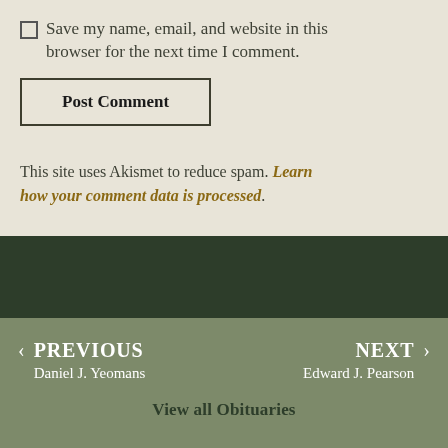Save my name, email, and website in this browser for the next time I comment.
Post Comment
This site uses Akismet to reduce spam. Learn how your comment data is processed.
◀ PREVIOUS
Daniel J. Yeomans
NEXT ▶
Edward J. Pearson
View all Obituaries